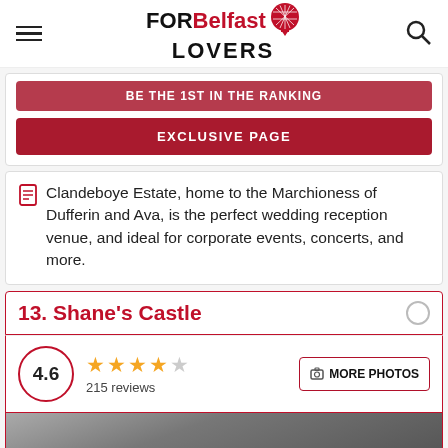FOR Belfast LOVERS
BE THE 1ST IN THE RANKING
EXCLUSIVE PAGE
Clandeboye Estate, home to the Marchioness of Dufferin and Ava, is the perfect wedding reception venue, and ideal for corporate events, concerts, and more.
13. Shane's Castle
4.6  215 reviews
MORE PHOTOS
[Figure (photo): Photo of Shane's Castle]